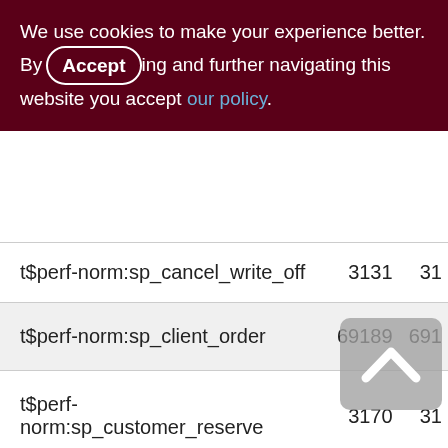We use cookies to make your experience better. By accepting and further navigating this website you accept our policy.
| Name | Col2 | Col3 |
| --- | --- | --- |
| t$perf-norm:sp_cancel_write_off | 3131 | 31 |
| t$perf-norm:sp_client_order | 69189 | 691 |
| t$perf-norm:sp_customer_reserve | 3170 | 31 |
| t$perf-norm:sp_pay_from_customer | 22765 | 227 |
| t$perf-norm:sp_pay_to_supplier | 19116 | 191 |
| t$perf-norm:sp_reserve_write_off | 31772 | 317 |